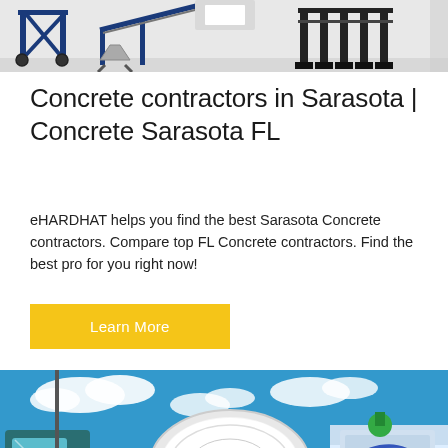[Figure (photo): Blue concrete/construction equipment on white background — partial top crop showing metallic frames, a conveyor-like structure, and black support legs on the right]
Concrete contractors in Sarasota | Concrete Sarasota FL
eHARDHAT helps you find the best Sarasota Concrete contractors. Compare top FL Concrete contractors. Find the best pro for you right now!
Learn More
[Figure (photo): Concrete mixer trucks and equipment photographed from below against a blue sky with white clouds. Large white cylindrical drum in center, blue and white machinery visible.]